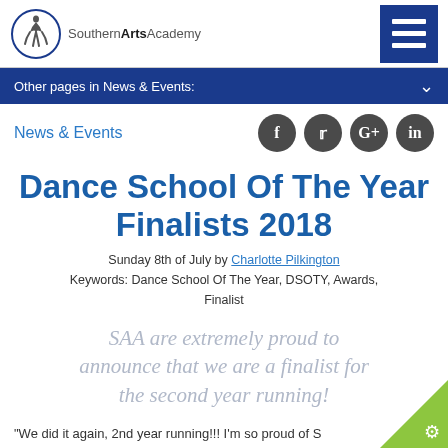[Figure (logo): Southern Arts Academy logo with dancer silhouette in a circle and text 'SouthernArtsAcademy']
Other pages in News & Events:
News & Events
Dance School Of The Year Finalists 2018
Sunday 8th of July by Charlotte Pilkington
Keywords: Dance School Of The Year, DSOTY, Awards, Finalist
SAA are extremely proud to announce that we are a finalist for the second year running!
"We did it again, 2nd year running!!! I'm so proud of S